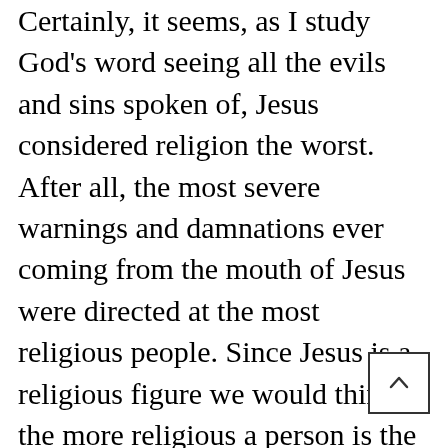Certainly, it seems, as I study God's word seeing all the evils and sins spoken of, Jesus considered religion the worst. After all, the most severe warnings and damnations ever coming from the mouth of Jesus were directed at the most religious people. Since Jesus is a religious figure we would think the more religious a person is the more affirmation one would expect to receive from God especially a devout Jew. The thought in the world is the Jew in Judaism will always be God's favorite. That is not the case. The fiercest damnations Jesus gave were to religious Jews. Have you ever wondered exactly why this was and is? The reason this is so important to know is so we will avoid those damnations.